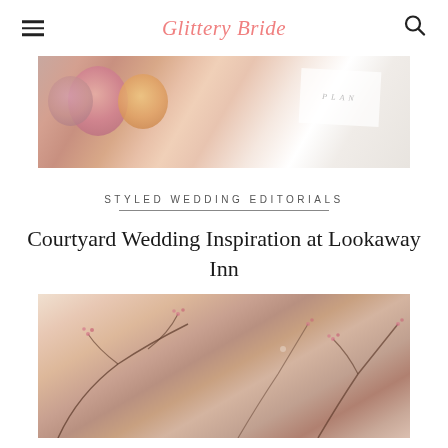Glittery Bride
[Figure (photo): Top image showing pink and orange roses with what appears to be a plan card on a decorative surface]
STYLED WEDDING EDITORIALS
Courtyard Wedding Inspiration at Lookaway Inn
[Figure (photo): Close-up photo of a bride with cherry blossom branches in the foreground]